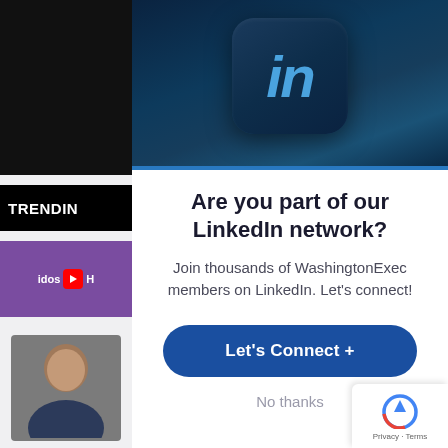[Figure (screenshot): LinkedIn logo on dark blue background banner]
[Figure (screenshot): Left sidebar with TRENDING bar, purple video thumbnail, and person photo]
Are you part of our LinkedIn network?
Join thousands of WashingtonExec members on LinkedIn. Let's connect!
Let's Connect +
No thanks